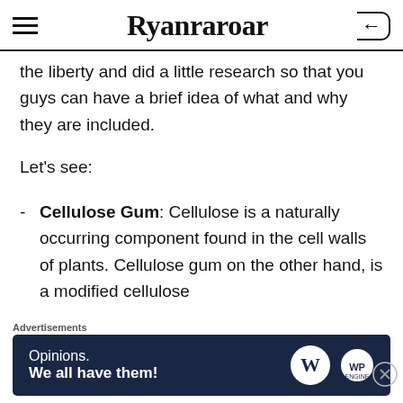Ryanraroar
the liberty and did a little research so that you guys can have a brief idea of what and why they are included.
Let's see:
Cellulose Gum: Cellulose is a naturally occurring component found in the cell walls of plants. Cellulose gum on the other hand, is a modified cellulose
Advertisements
[Figure (other): Advertisement banner with dark navy background reading 'Opinions. We all have them!' with WordPress and WP Engine logos]